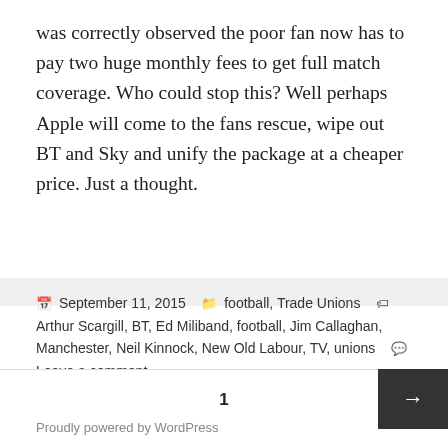was correctly observed the poor fan now has to pay two huge monthly fees to get full match coverage. Who could stop this? Well perhaps Apple will come to the fans rescue, wipe out BT and Sky and unify the package at a cheaper price. Just a thought.
September 11, 2015  football, Trade Unions  Arthur Scargill, BT, Ed Miliband, football, Jim Callaghan, Manchester, Neil Kinnock, New Old Labour, TV, unions  Leave a comment
1
Proudly powered by WordPress